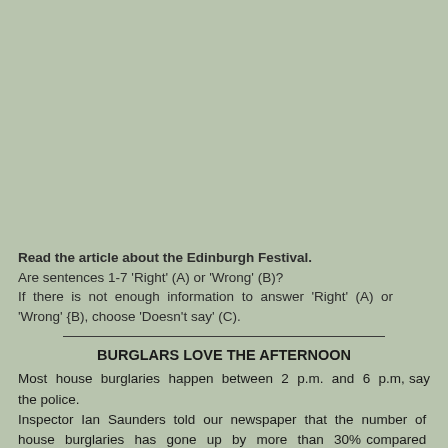Read the article about the Edinburgh Festival. Are sentences 1-7 'Right' (A) or 'Wrong' (B)? If there is not enough information to answer 'Right' (A) or 'Wrong' {B), choose 'Doesn't say' (C).
BURGLARS LOVE THE AFTERNOON
Most house burglaries happen between 2 p.m. and 6 p.m, say the police. Inspector Ian Saunders told our newspaper that the number of house burglaries has gone up by more than 30% compared with last year. He also said that 67% of burglaries